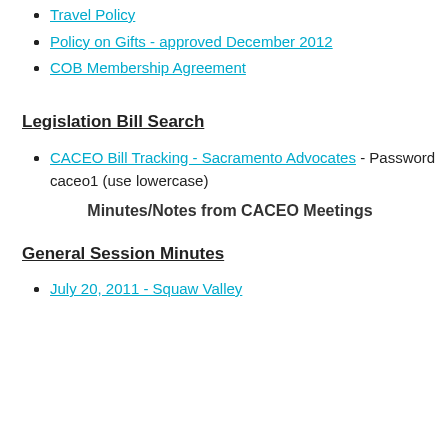Travel Policy
Policy on Gifts - approved December 2012
COB Membership Agreement
Legislation Bill Search
CACEO Bill Tracking - Sacramento Advocates - Password caceo1 (use lowercase)
Minutes/Notes from CACEO Meetings
General Session Minutes
July 20, 2011 - Squaw Valley